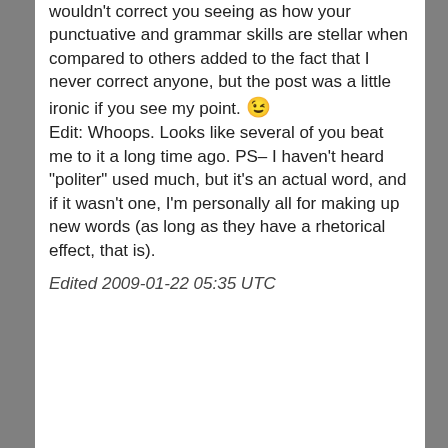wouldn't correct you seeing as how your punctuative and grammar skills are stellar when compared to others added to the fact that I never correct anyone, but the post was a little ironic if you see my point. 😉
Edit: Whoops. Looks like several of you beat me to it a long time ago. PS– I haven't heard "politer" used much, but it's an actual word, and if it wasn't one, I'm personally all for making up new words (as long as they have a rhetorical effect, that is).
Edited 2009-01-22 05:35 UTC